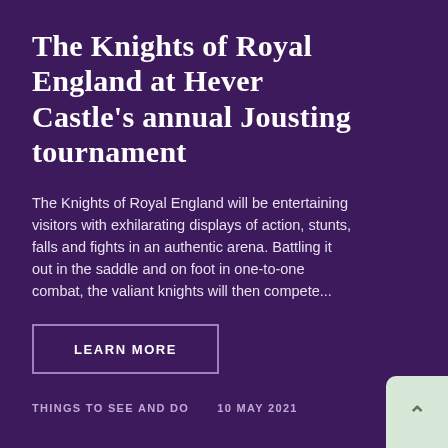The Knights of Royal England at Hever Castle's annual Jousting tournament
The Knights of Royal England will be entertaining visitors with exhilarating displays of action, stunts, falls and fights in an authentic arena. Battling it out in the saddle and on foot in one-to-one combat, the valiant knights will then compete...
LEARN MORE
THINGS TO SEE AND DO    10 MAY 2021